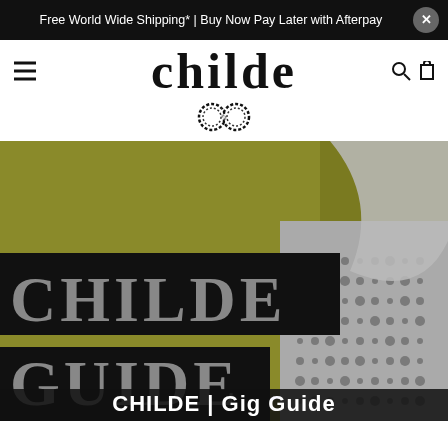Free World Wide Shipping* | Buy Now Pay Later with Afterpay
[Figure (logo): Childe brand logo with stylized serif text 'childe' and an infinity symbol made of interlocking circles below]
[Figure (illustration): Hero banner image with olive/khaki green background, large black rectangles with white text reading 'CHILDE' and 'GUIDE', a halftone portrait figure in gray tones on the right side, and white bold text 'CHILDE | Gig Guide' at the bottom]